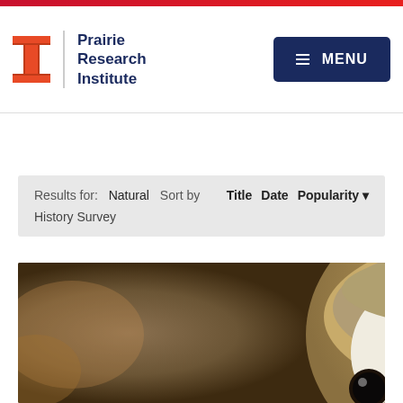Prairie Research Institute
Results for: Natural History Survey  Sort by  Title  Date  Popularity ▾
[Figure (photo): Close-up photograph of a barn owl's face and head, showing characteristic heart-shaped facial disc with white and tan feathers, on a blurred brown background]